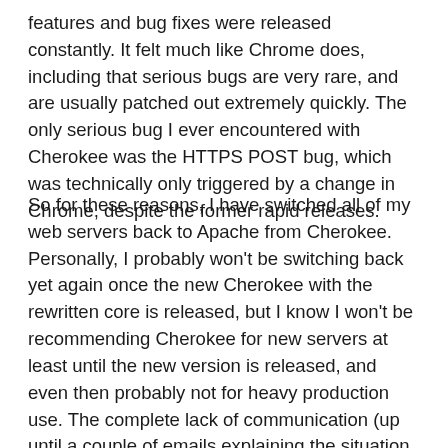features and bug fixes were released constantly. It felt much like Chrome does, including that serious bugs are very rare, and are usually patched out extremely quickly. The only serious bug I ever encountered with Cherokee was the HTTPS POST bug, which was technically only triggered by a change in Chrome, despite the former rapid releases.
So for these reasons, I have switched all of my web servers back to Apache from Cherokee. Personally, I probably won't be switching back yet again once the new Cherokee with the rewritten core is released, but I know I won't be recommending Cherokee for new servers at least until the new version is released, and even then probably not for heavy production use. The complete lack of communication (up until a couple of emails explaining the situation last week) makes me wary to use or recommend Cherokee in production.